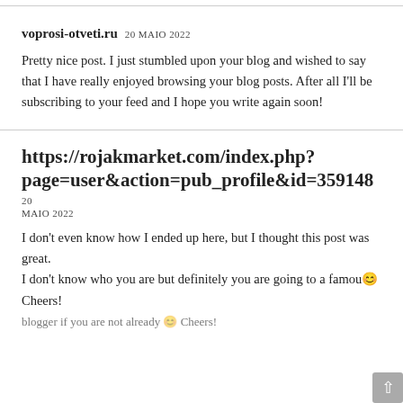voprosi-otveti.ru 20 MAIO 2022
Pretty nice post. I just stumbled upon your blog and wished to say that I have really enjoyed browsing your blog posts. After all I'll be subscribing to your feed and I hope you write again soon!
https://rojakmarket.com/index.php?page=user&action=pub_profile&id=359148 20 MAIO 2022
I don't even know how I ended up here, but I thought this post was great.
I don't know who you are but definitely you are going to a famous blogger if you are not already 😊 Cheers!